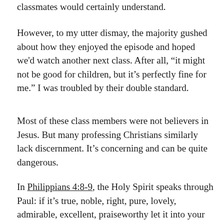classmates would certainly understand.
However, to my utter dismay, the majority gushed about how they enjoyed the episode and hoped we'd watch another next class. After all, “it might not be good for children, but it’s perfectly fine for me.” I was troubled by their double standard.
Most of these class members were not believers in Jesus. But many professing Christians similarly lack discernment. It’s concerning and can be quite dangerous.
In Philippians 4:8-9, the Holy Spirit speaks through Paul: if it’s true, noble, right, pure, lovely, admirable, excellent, praiseworthy let it into your